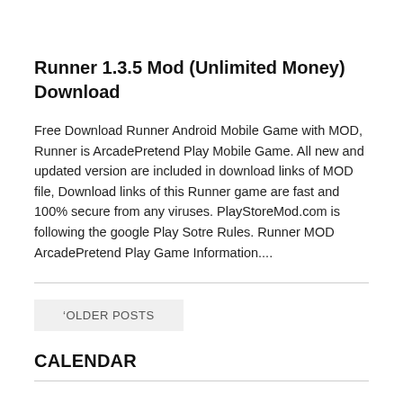Runner 1.3.5 Mod (Unlimited Money) Download
Free Download Runner Android Mobile Game with MOD, Runner is ArcadePretend Play Mobile Game. All new and updated version are included in download links of MOD file, Download links of this Runner game are fast and 100% secure from any viruses. PlayStoreMod.com is following the google Play Sotre Rules. Runner MOD ArcadePretend Play Game Information....
OLDER POSTS
CALENDAR